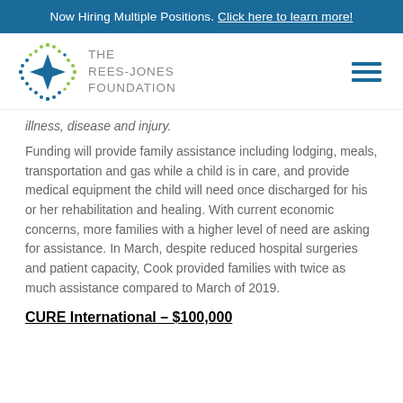Now Hiring Multiple Positions. Click here to learn more!
[Figure (logo): The Rees-Jones Foundation logo with star/diamond graphic and text]
illness, disease and injury.
Funding will provide family assistance including lodging, meals, transportation and gas while a child is in care, and provide medical equipment the child will need once discharged for his or her rehabilitation and healing. With current economic concerns, more families with a higher level of need are asking for assistance. In March, despite reduced hospital surgeries and patient capacity, Cook provided families with twice as much assistance compared to March of 2019.
CURE International – $100,000